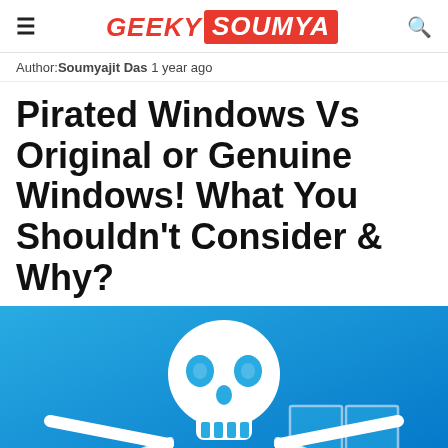GEEKY SOUMYA
Author:Soumyajit Das 1 year ago
Pirated Windows Vs Original or Genuine Windows! What You Shouldn't Consider & Why?
[Figure (illustration): Illustration of a pirate skull and crossbones logo overlaid on a blue Windows 10 desktop background, representing pirated vs genuine Windows software.]